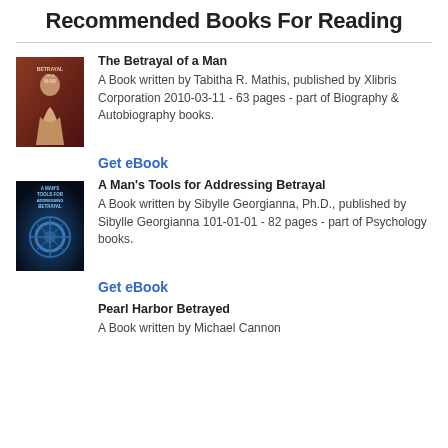Recommended Books For Reading
The Betrayal of a Man — A Book written by Tabitha R. Mathis, published by Xlibris Corporation 2010-03-11 - 63 pages - part of Biography & Autobiography books.
Get eBook
A Man's Tools for Addressing Betrayal — A Book written by Sibylle Georgianna, Ph.D., published by Sibylle Georgianna 101-01-01 - 82 pages - part of Psychology books.
Get eBook
Pearl Harbor Betrayed — A Book written by Michael Cannon